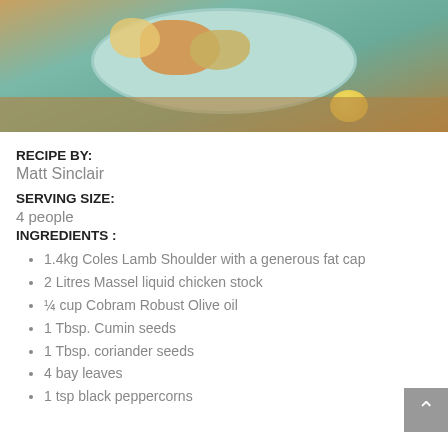[Figure (photo): A food photo showing roasted lamb shoulder on a light blue/teal ceramic plate with lemon and vegetables, on a wooden table background.]
RECIPE BY:
Matt Sinclair
SERVING SIZE:
4 people
INGREDIENTS :
1.4kg Coles Lamb Shoulder with a generous fat cap
2 Litres Massel liquid chicken stock
¼ cup Cobram Robust Olive oil
1 Tbsp. Cumin seeds
1 Tbsp. coriander seeds
4 bay leaves
1 tsp black peppercorns